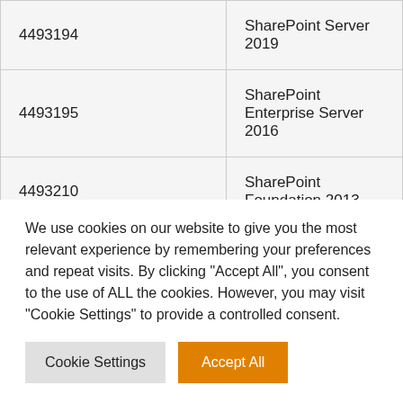| 4493194 | SharePoint Server 2019 |
| 4493195 | SharePoint Enterprise Server 2016 |
| 4493210 | SharePoint Foundation 2013 |
| 4493223 | SharePoint Foundation 2010 |
| 4571787 | Exchange Server 2019 |
We use cookies on our website to give you the most relevant experience by remembering your preferences and repeat visits. By clicking "Accept All", you consent to the use of ALL the cookies. However, you may visit "Cookie Settings" to provide a controlled consent.